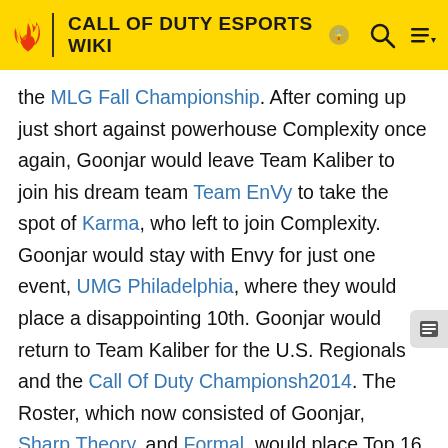CALL OF DUTY ESPORTS WIKI
the MLG Fall Championship. After coming up just short against powerhouse Complexity once again, Goonjar would leave Team Kaliber to join his dream team Team EnVy to take the spot of Karma, who left to join Complexity. Goonjar would stay with Envy for just one event, UMG Philadelphia, where they would place a disappointing 10th. Goonjar would return to Team Kaliber for the U.S. Regionals and the Call Of Duty Championship 2014. The Roster, which now consisted of Goonjar, Sharp, Theory, and Formal, would place Top 16 at Champs, the lowest placing in the team's short history. Afterwards, FormalL would leave the team and be replaced by Apathy. Using Madcat as a fill-in, the team would place 7th at UGC Niagara 2014. Goonjar and friends would then receive an invite to the first MLG X Games Invitational. Here, Team